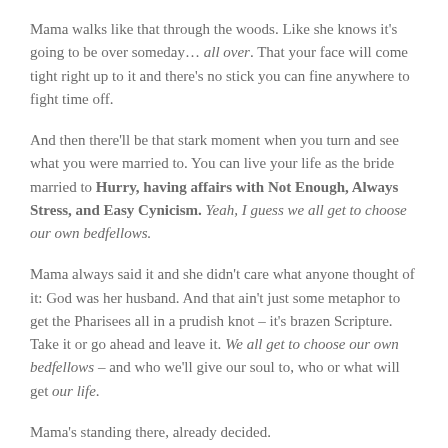Mama walks like that through the woods. Like she knows it's going to be over someday… all over. That your face will come tight right up to it and there's no stick you can fine anywhere to fight time off.
And then there'll be that stark moment when you turn and see what you were married to. You can live your life as the bride married to Hurry, having affairs with Not Enough, Always Stress, and Easy Cynicism. Yeah, I guess we all get to choose our own bedfellows.
Mama always said it and she didn't care what anyone thought of it: God was her husband. And that ain't just some metaphor to get the Pharisees all in a prudish knot – it's brazen Scripture. Take it or go ahead and leave it. We all get to choose our own bedfellows – and who we'll give our soul to, who or what will get our life.
Mama's standing there, already decided.